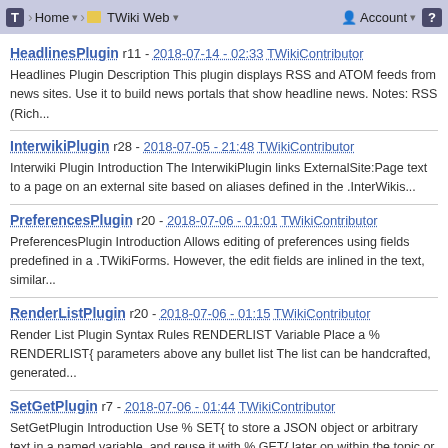T | Home | TWiki Web | Account | ?
HeadlinesPlugin   r11 - 2018-07-14 - 02:33  TWikiContributor
Headlines Plugin Description This plugin displays RSS and ATOM feeds from news sites. Use it to build news portals that show headline news. Notes: RSS (Rich...
InterwikiPlugin   r28 - 2018-07-05 - 21:48  TWikiContributor
Interwiki Plugin Introduction The InterwikiPlugin links ExternalSite:Page text to a page on an external site based on aliases defined in the .InterWikis...
PreferencesPlugin  r20 - 2018-07-06 - 01:01  TWikiContributor
PreferencesPlugin Introduction Allows editing of preferences using fields predefined in a .TWikiForms. However, the edit fields are inlined in the text, similar...
RenderListPlugin   r20 - 2018-07-06 - 01:15  TWikiContributor
Render List Plugin Syntax Rules RENDERLIST Variable Place a % RENDERLIST{ parameters above any bullet list The list can be handcrafted, generated...
SetGetPlugin   r7 - 2018-07-06 - 01:44  TWikiContributor
SetGetPlugin Introduction Use % SET{ to store a JSON object or arbitrary text in a named variable, and reuse it with % GET{ later on within the topic or an included...